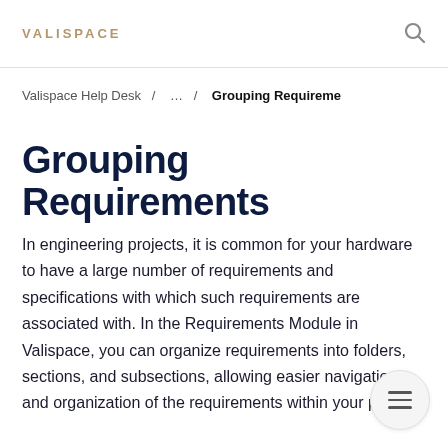VALISPACE
Valispace Help Desk / ... / Grouping Requireme
Grouping Requirements
In engineering projects, it is common for your hardware to have a large number of requirements and specifications with which such requirements are associated with. In the Requirements Module in Valispace, you can organize requirements into folders, sections, and subsections, allowing easier navigation and organization of the requirements within your project.